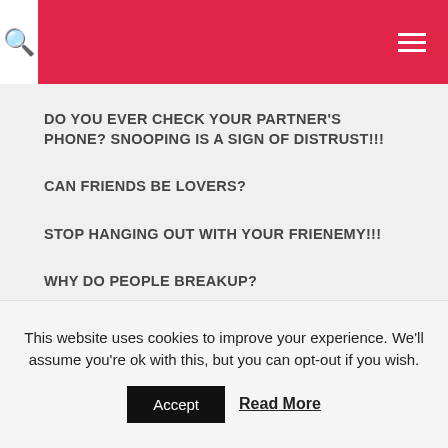Search | Menu
DO YOU EVER CHECK YOUR PARTNER'S PHONE? SNOOPING IS A SIGN OF DISTRUST!!!
CAN FRIENDS BE LOVERS?
STOP HANGING OUT WITH YOUR FRIENEMY!!!
WHY DO PEOPLE BREAKUP?
HOW TO USE THE LAW OF ATTRACTION TO IMPROVE YOUR LOVE LIFE AND RELATIONSHIPS
MAINTAINING YOUR SANITY WHEN MOVING IN WITH YOUR PARTNER
This website uses cookies to improve your experience. We'll assume you're ok with this, but you can opt-out if you wish. Accept Read More